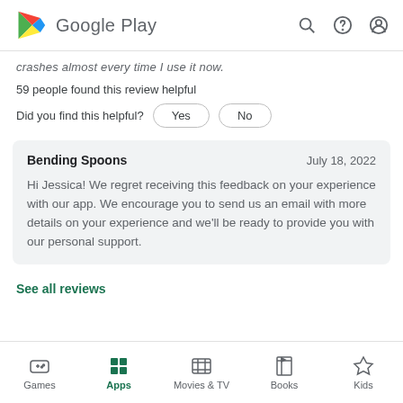Google Play
crashes almost every time I use it now.
59 people found this review helpful
Did you find this helpful?  Yes  No
Bending Spoons  July 18, 2022
Hi Jessica! We regret receiving this feedback on your experience with our app. We encourage you to send us an email with more details on your experience and we'll be ready to provide you with our personal support.
See all reviews
Games  Apps  Movies & TV  Books  Kids